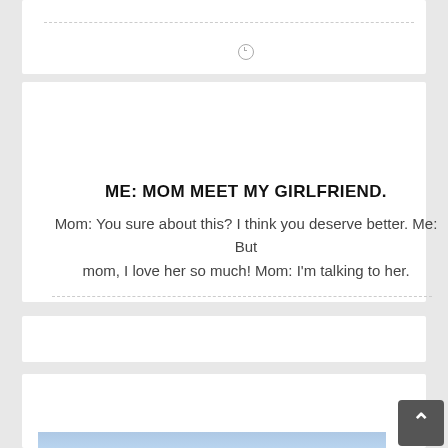(partial card top)
ME: MOM MEET MY GIRLFRIEND.
Mom: You sure about this? I think you deserve better. Me: But mom, I love her so much! Mom: I'm talking to her.
Me using part of someone else's code in my program
[Figure (photo): Blue sky background, partially visible, bottom of card]